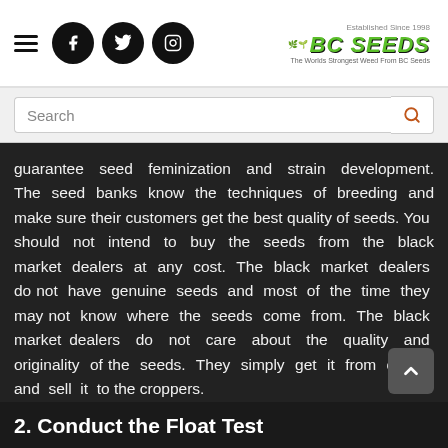BC Seeds - The Worlds Strongest Weed From BC Seeds
guarantee seed feminization and strain development. The seed banks know the techniques of breeding and make sure their customers get the best quality of seeds. You should not intend to buy the seeds from the black market dealers at any cost. The black market dealers do not have genuine seeds and most of the time they may not know where the seeds come from. The black market dealers do not care about the quality and originality of the seeds. They simply get it from others and sell it to the croppers.
2. Conduct the Float Test